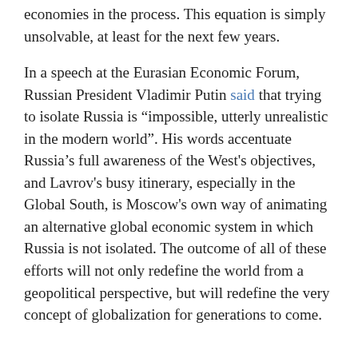economies in the process. This equation is simply unsolvable, at least for the next few years.
In a speech at the Eurasian Economic Forum, Russian President Vladimir Putin said that trying to isolate Russia is “impossible, utterly unrealistic in the modern world”. His words accentuate Russia’s full awareness of the West's objectives, and Lavrov's busy itinerary, especially in the Global South, is Moscow's own way of animating an alternative global economic system in which Russia is not isolated. The outcome of all of these efforts will not only redefine the world from a geopolitical perspective, but will redefine the very concept of globalization for generations to come.